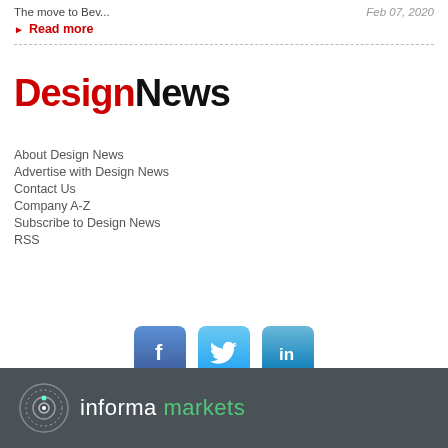The move to Bev...
Feb 07, 2020
Read more
[Figure (logo): Design News logo with 'Design' in red and 'News' in black bold text]
About Design News
Advertise with Design News
Contact Us
Company A-Z
Subscribe to Design News
RSS
[Figure (logo): Social media icons: Facebook (blue f), Twitter (blue bird), LinkedIn (blue in)]
[Figure (logo): Informa Markets logo with circular icon and text 'informa markets' in white and green on dark gray bar]